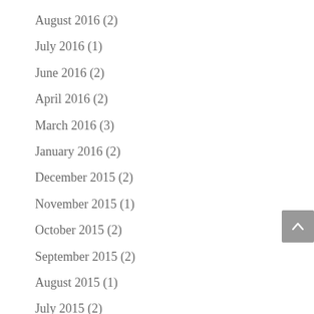August 2016 (2)
July 2016 (1)
June 2016 (2)
April 2016 (2)
March 2016 (3)
January 2016 (2)
December 2015 (2)
November 2015 (1)
October 2015 (2)
September 2015 (2)
August 2015 (1)
July 2015 (2)
June 2015 (3)